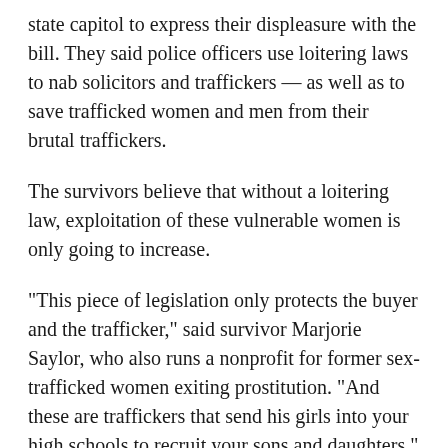state capitol to express their displeasure with the bill. They said police officers use loitering laws to nab solicitors and traffickers — as well as to save trafficked women and men from their brutal traffickers.
The survivors believe that without a loitering law, exploitation of these vulnerable women is only going to increase.
“This piece of legislation only protects the buyer and the trafficker,” said survivor Marjorie Saylor, who also runs a nonprofit for former sex-trafficked women exiting prostitution. “And these are traffickers that send his girls into your high schools to recruit your sons and daughters.”